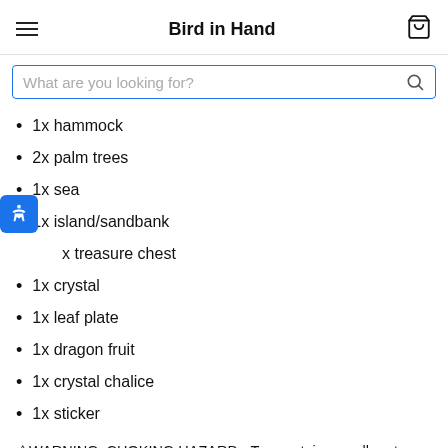Bird in Hand
1x hammock
2x palm trees
1x sea
1x island/sandbank
1x treasure chest
1x crystal
1x leaf plate
1x dragon fruit
1x crystal chalice
1x sticker
⚠WARNING: CHOKING HAZARD - Toy contains small parts and small balls. Not for children under 3 years.
BY SCHLEICH